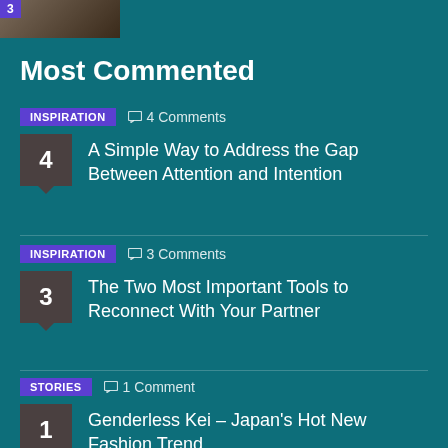[Figure (photo): Thumbnail image with number 3 badge in top-left corner]
Most Commented
A Simple Way to Address the Gap Between Attention and Intention
The Two Most Important Tools to Reconnect With Your Partner
Genderless Kei – Japan's Hot New Fashion Trend